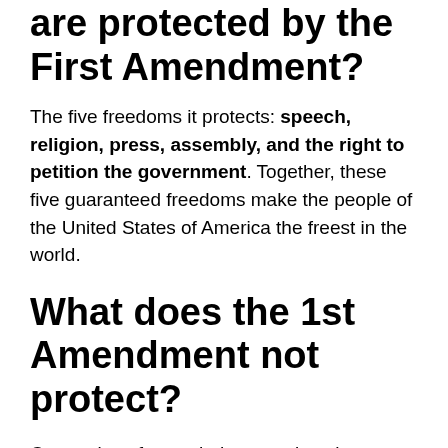are protected by the First Amendment?
The five freedoms it protects: speech, religion, press, assembly, and the right to petition the government. Together, these five guaranteed freedoms make the people of the United States of America the freest in the world.
What does the 1st Amendment not protect?
Categories of speech that are given lesser or no protection by the First Amendment (and therefore may be restricted) include obscenity, fraud, child pornography, speech integral to illegal conduct, speech that